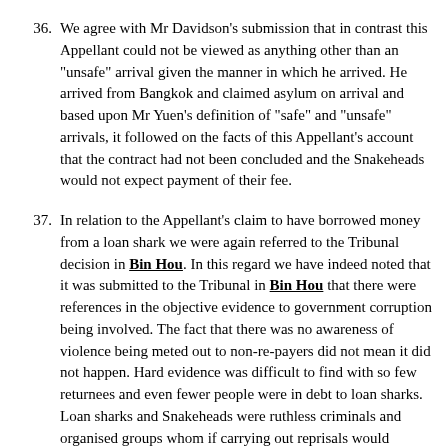36. We agree with Mr Davidson's submission that in contrast this Appellant could not be viewed as anything other than an "unsafe" arrival given the manner in which he arrived. He arrived from Bangkok and claimed asylum on arrival and based upon Mr Yuen's definition of "safe" and "unsafe" arrivals, it followed on the facts of this Appellant's account that the contract had not been concluded and the Snakeheads would not expect payment of their fee.
37. In relation to the Appellant's claim to have borrowed money from a loan shark we were again referred to the Tribunal decision in Bin Hou. In this regard we have indeed noted that it was submitted to the Tribunal in Bin Hou that there were references in the objective evidence to government corruption being involved. The fact that there was no awareness of violence being meted out to non-re-payers did not mean it did not happen. Hard evidence was difficult to find with so few returnees and even fewer people were in debt to loan sharks. Loan sharks and Snakeheads were ruthless criminals and organised groups whom if carrying out reprisals would obviously not tell the authorities. The victims would be unlikely to report and even the relatives of people killed as they would fear reprisals. The most up to date US State Department Reports were silent on the point.